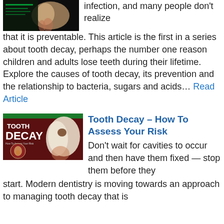[Figure (photo): Medical illustration of a tooth cross-section showing infection, displayed on a dark background screen]
infection, and many people don’t realize that it is preventable. This article is the first in a series about tooth decay, perhaps the number one reason children and adults lose teeth during their lifetime. Explore the causes of tooth decay, its prevention and the relationship to bacteria, sugars and acids… Read Article
[Figure (photo): Promotional image for Tooth Decay article with text 'TOOTH DECAY How To Assess Your Risk' on a dark red background with dental imagery showing decayed teeth]
Tooth Decay – How To Assess Your Risk
Don’t wait for cavities to occur and then have them fixed — stop them before they start. Modern dentistry is moving towards an approach to managing tooth decay that is